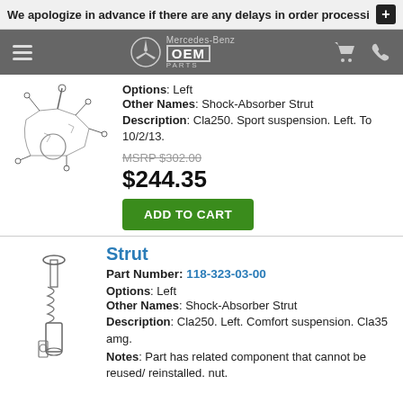We apologize in advance if there are any delays in order processi
[Figure (logo): Mercedes-Benz OEM Parts logo with star emblem in site navigation header]
[Figure (illustration): Technical line drawing of a vehicle suspension assembly with multiple components]
Options: Left
Other Names: Shock-Absorber Strut
Description: Cla250. Sport suspension. Left. To 10/2/13.
MSRP $302.00
$244.35
ADD TO CART
[Figure (illustration): Technical line drawing of a strut / shock absorber component]
Strut
Part Number: 118-323-03-00
Options: Left
Other Names: Shock-Absorber Strut
Description: Cla250. Left. Comfort suspension. Cla35 amg.
Notes: Part has related component that cannot be reused/ reinstalled. nut.